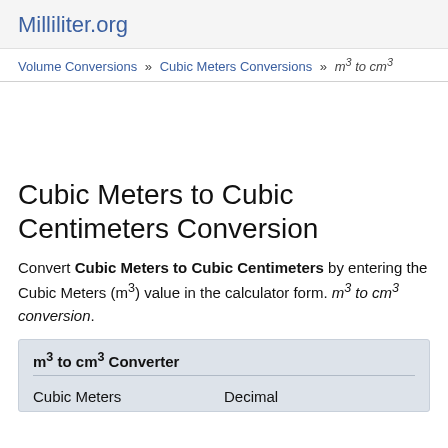Milliliter.org
Volume Conversions » Cubic Meters Conversions » m³ to cm³
Cubic Meters to Cubic Centimeters Conversion
Convert Cubic Meters to Cubic Centimeters by entering the Cubic Meters (m³) value in the calculator form. m³ to cm³ conversion.
m³ to cm³ Converter
Cubic Meters    Decimal